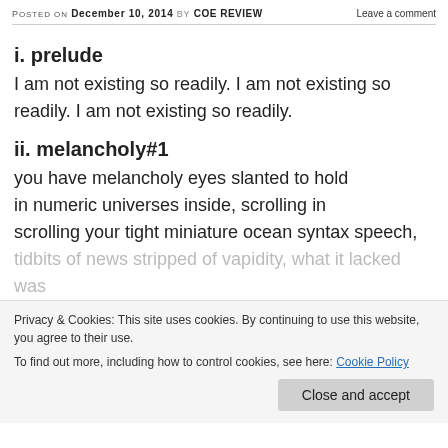Posted on December 10, 2014 by COE REVIEW   Leave a comment
i. prelude
I am not existing so readily. I am not existing so readily. I am not existing so readily.
ii. melancholy#1
you have melancholy eyes slanted to hold
in numeric universes inside, scrolling in
scrolling your tight miniature ocean syntax speech,
tidbits of news stripped of vapidity, what it lacked was
sa... the thin in you, boot slicked, but on
th... of your inability to control the rg... things
never gets out, your lonely body merely debris after-
rain so pale, window curtain sadness...
because you know the moon is crying even when it is
Privacy & Cookies: This site uses cookies. By continuing to use this website, you agree to their use.
To find out more, including how to control cookies, see here: Cookie Policy
Close and accept